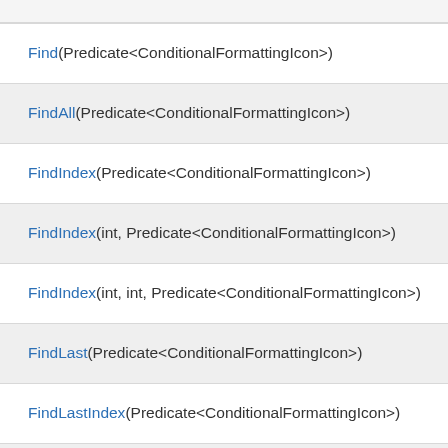Find(Predicate<ConditionalFormattingIcon>)
FindAll(Predicate<ConditionalFormattingIcon>)
FindIndex(Predicate<ConditionalFormattingIcon>)
FindIndex(int, Predicate<ConditionalFormattingIcon>)
FindIndex(int, int, Predicate<ConditionalFormattingIcon>)
FindLast(Predicate<ConditionalFormattingIcon>)
FindLastIndex(Predicate<ConditionalFormattingIcon>)
FindLastIndex(int, Predicate<ConditionalFormattingIcon>)
FindLastIndex(int, int, Predicate<ConditionalFormattingIcon>)